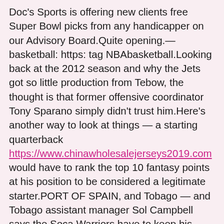Doc's Sports is offering new clients free Super Bowl picks from any handicapper on our Advisory Board.Quite opening.— basketball: https: tag NBAbasketball.Looking back at the 2012 season and why the Jets got so little production from Tebow, the thought is that former offensive coordinator Tony Sparano simply didn't trust him.Here's another way to look at things — a starting quarterback https://www.chinawholesalejerseys2019.com would have to rank the top 10 fantasy points at his position to be considered a legitimate starter.PORT OF SPAIN, and Tobago — and Tobago assistant manager Sol Campbell says the Soca Warriors have to keep his former Arsenal teammate Vela subdued if they are to get a result against Mexico World Cup qualifying on Tuesday.
That's the beauty of the NBA playoffs.â¦ And what the hell, Randy Orton?We knew what we had.Betfred